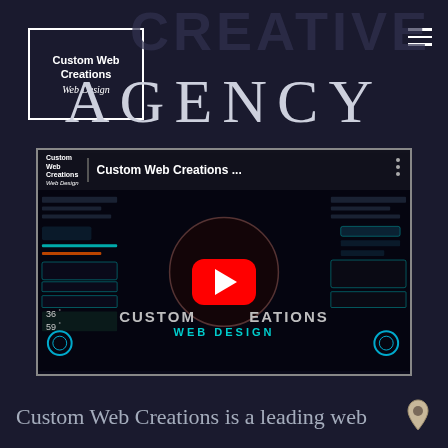Custom Web Creations Web Design
CREATIVE AGENCY
[Figure (screenshot): YouTube video embed showing Custom Web Creations Web Design promotional video with a red play button overlay, dark futuristic dashboard background, and text 'CUSTOM WEB CREATIONS WEB DESIGN' overlaid on the thumbnail.]
Custom Web Creations is a leading web